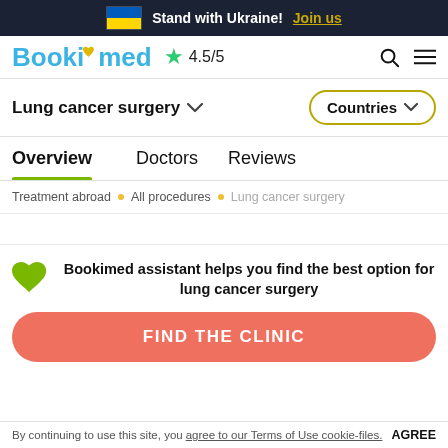Stand with Ukraine! Join us
[Figure (logo): Bookimed logo with blue and yellow text and heart icon, star rating 4.5/5]
Lung cancer surgery ▾
Countries ▾
Overview
Doctors
Reviews
Treatment abroad · All procedures · Lung cancer surgery
Bookimed assistant helps you find the best option for lung cancer surgery
FIND THE CLINIC
By continuing to use this site, you agree to our Terms of Use cookie-files. AGREE